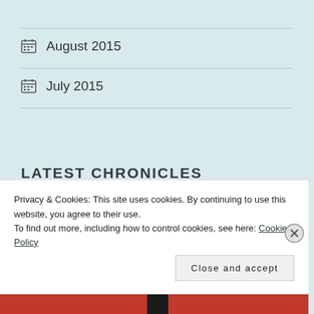August 2015
July 2015
LATEST CHRONICLES
Privacy & Cookies: This site uses cookies. By continuing to use this website, you agree to their use. To find out more, including how to control cookies, see here: Cookie Policy
Close and accept